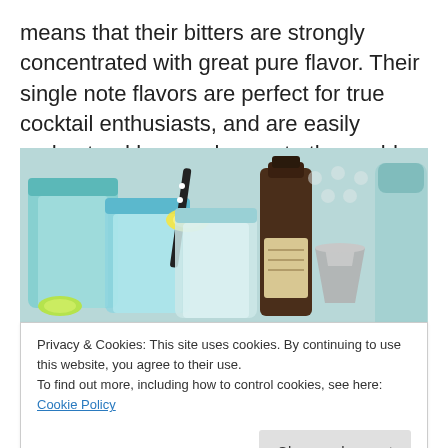means that their bitters are strongly concentrated with great pure flavor. Their single note flavors are perfect for true cocktail enthusiasts, and are easily understood by people new to the world bitters.
[Figure (photo): Photo of cocktails in blue mason jars with lemon/lime garnishes, a bitters bottle, and bartending tools including a jigger and shaker]
Privacy & Cookies: This site uses cookies. By continuing to use this website, you agree to their use.
To find out more, including how to control cookies, see here: Cookie Policy
From their website, " Our focus (is) to create bitters using